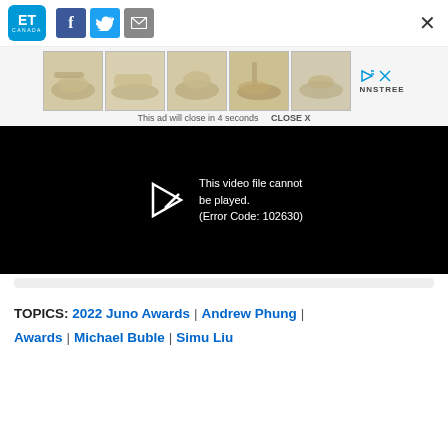ET Canada | Share buttons: Facebook, Twitter, Email | Close
[Figure (screenshot): Advertisement banner showing 5 shoe product images (sandals/wedges) with NNSTREE branding, play and close icons, and text 'This ad will close in 4 seconds  CLOSE X']
[Figure (screenshot): Video player showing black screen with error message: 'This video file cannot be played. (Error Code: 102630)']
TOPICS: 2022 Juno Awards | Andrew Phung | Awards | Michael Buble | Simu Liu